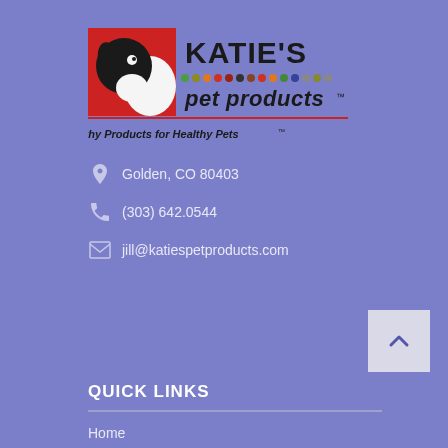[Figure (logo): Katie's Pet Products logo — red square with black and white dog silhouette on left, 'KATIE'S' in large bold text with colorful dots row below, 'pet products' in bold italic, tagline 'Healthy Products for Healthy Pets™' below a red underline]
Golden, CO 80403
(303) 642.0544
jill@katiespetproducts.com
QUICK LINKS
Home